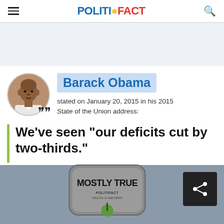POLITIFACT
[Figure (other): Advertisement banner placeholder with light blue-gray background]
Barack Obama
stated on January 20, 2015 in his 2015 State of the Union address:
We've seen "our deficits cut by two-thirds."
[Figure (other): PolitiFact Truth-O-Meter graphic showing 'MOSTLY TRUE' rating]